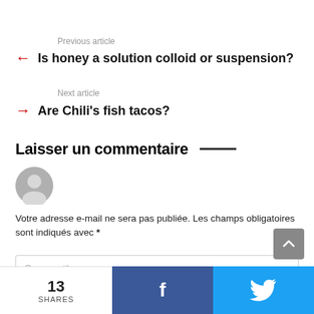Previous article
Is honey a solution colloid or suspension?
Next article
Are Chili's fish tacos?
Laisser un commentaire
[Figure (illustration): Gray user avatar icon]
Votre adresse e-mail ne sera pas publiée. Les champs obligatoires sont indiqués avec *
Comment*
13 SHARES | Facebook share | Twitter share